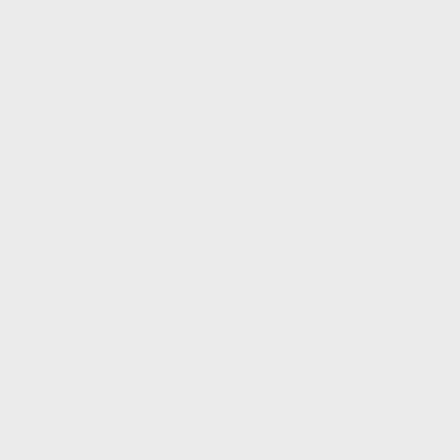App-ZofCMS-Plugin-DateSelector
App-ZofCMS-Plugin-DBI
App-ZofCMS-Plugin-DBIPPT
App-ZofCMS-Plugin-Debug-Dumper
App-ZofCMS-Plugin-Debug-Validator
App-ZofCMS-Plugin-DirTreeBrowser
App-ZofCMS-Plugin-Doctypes
App-ZofCMS-Plugin-FeatureSuggest
App-ZofCMS-Plugin-FileList
App-ZofCMS-Plugin-FileToTemplate
App-ZofCMS-Plugin-FileTypeIcon
App-ZofCMS-Plugin-FileUpload